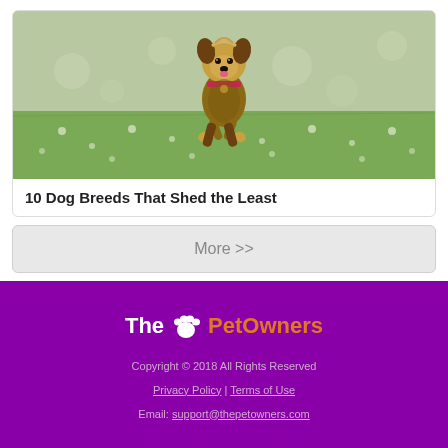[Figure (photo): A small Yorkshire Terrier dog running/jumping on a grassy field with white clover flowers]
10 Dog Breeds That Shed the Least
More >>
[Figure (logo): The PetOwners logo with paw print icon — 'The' in white, paw icon in white, 'PetOwners' in orange, on purple background]
Copyright © 2018 All Rights Reserved
Privacy Policy | Terms of Use
Email: support@thepetowners.com